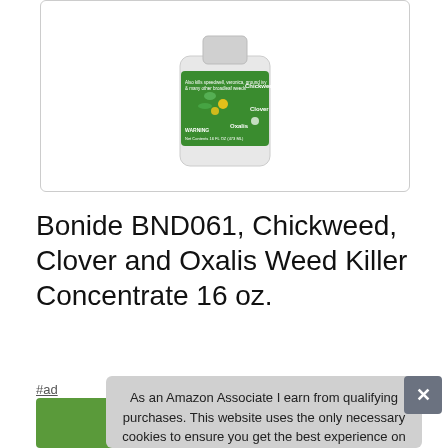[Figure (photo): Product image of Bonide BND061 Chickweed, Clover and Oxalis Weed Killer Concentrate 16 oz bottle with green label showing Chickweed, Clover, and Oxalis labels with plants]
Bonide BND061, Chickweed, Clover and Oxalis Weed Killer Concentrate 16 oz.
#ad
As an Amazon Associate I earn from qualifying purchases. This website uses the only necessary cookies to ensure you get the best experience on our website. More information